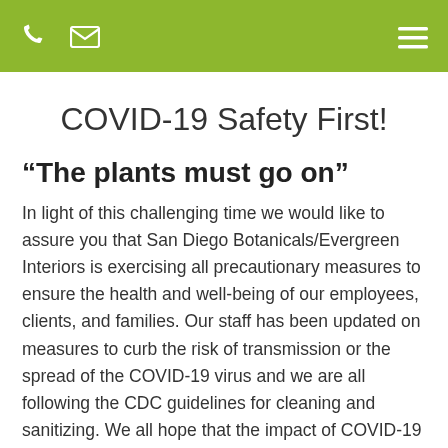[phone icon] [email icon] [menu icon]
COVID-19 Safety First!
“The plants must go on”
In light of this challenging time we would like to assure you that San Diego Botanicals/Evergreen Interiors is exercising all precautionary measures to ensure the health and well-being of our employees, clients, and families. Our staff has been updated on measures to curb the risk of transmission or the spread of the COVID-19 virus and we are all following the CDC guidelines for cleaning and sanitizing. We all hope that the impact of COVID-19 will be short lived. We wish the best for you and